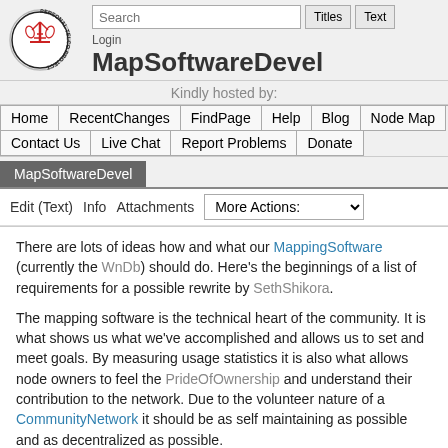Personal Telco Project | MapSoftwareDevel
Login
MapSoftwareDevel
Kindly hosted by:
Home | RecentChanges | FindPage | Help | Blog | Node Map | Contact Us | Live Chat | Report Problems | Donate
MapSoftwareDevel
Edit (Text)  Info  Attachments  More Actions:
There are lots of ideas how and what our MappingSoftware (currently the WnDb) should do. Here's the beginnings of a list of requirements for a possible rewrite by SethShikora.
The mapping software is the technical heart of the community. It is what shows us what we've accomplished and allows us to set and meet goals. By measuring usage statistics it is also what allows node owners to feel the PrideOfOwnership and understand their contribution to the network. Due to the volunteer nature of a CommunityNetwork it should be as self maintaining as possible and as decentralized as possible.
Some of these goals are obviously ones for futher down the road, but hopefully thinking about them early on will allow us